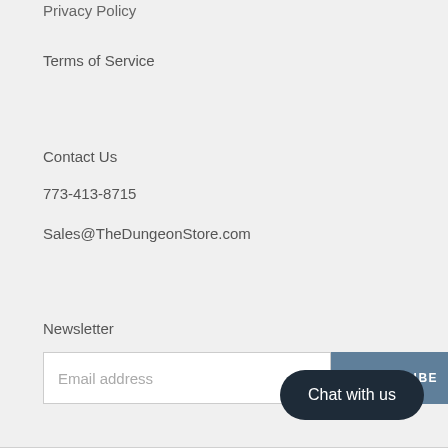Privacy Policy
Terms of Service
Contact Us
773-413-8715
Sales@TheDungeonStore.com
Newsletter
Email address
SUBSCRIBE
Chat with us